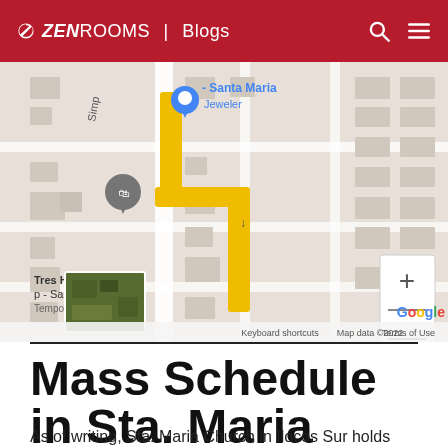ZEN ROOMS | Blogs
[Figure (map): Google Maps screenshot showing a route in Santa Maria, with a blue location pin labeled 'Santa Maria Jeweler', a yellow route path, and a label 'Tres Hermanas p - Santa Maria, Temporarily closed'. Map data ©2022.]
Mass Schedule in Sta. Maria Church
As of writing, Sta. Maria Church in Ilocos Sur holds